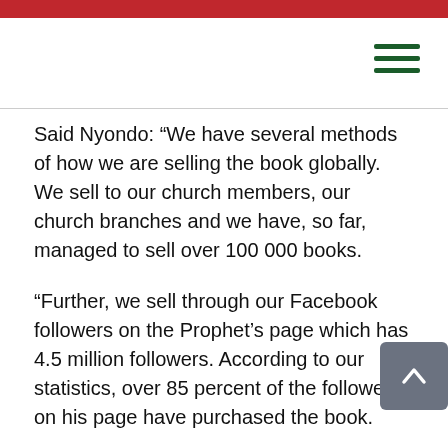Said Nyondo: “We have several methods of how we are selling the book globally. We sell to our church members, our church branches and we have, so far, managed to sell over 100 000 books.
“Further, we sell through our Facebook followers on the Prophet’s page which has 4.5 million followers. According to our statistics, over 85 percent of the followers on his page have purchased the book.
“Again, we also have other Facebook pages such his wife’s page with over 1.5 million followers. I can confirm to you that over 60 percent of her followers have purchased the book,” said Nyondo.